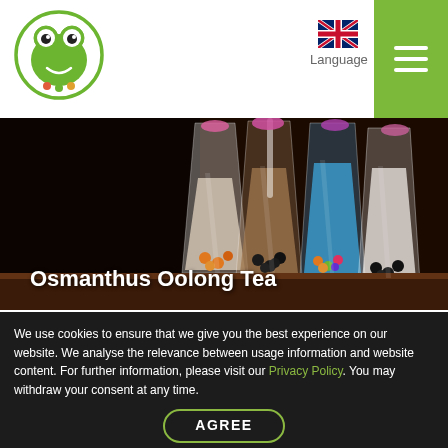[Figure (logo): Frog/bubble tea logo circle with green border and frog icon]
[Figure (illustration): UK flag icon]
Language
[Figure (illustration): Green hamburger menu icon (three horizontal bars)]
[Figure (photo): Photo of colorful bubble tea drinks in tall glasses with boba pearls and flowers on top]
Osmanthus Oolong Tea
We use cookies to ensure that we give you the best experience on our website. We analyse the relevance between usage information and website content. For further information, please visit our Privacy Policy. You may withdraw your consent at any time.
AGREE